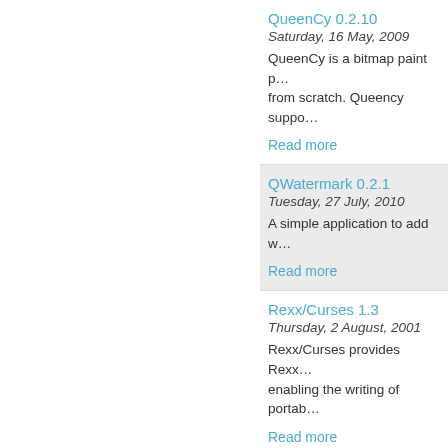QueenCy 0.2.10
Saturday, 16 May, 2009
QueenCy is a bitmap paint p… from scratch. Queency suppo…
Read more
QWatermark 0.2.1
Tuesday, 27 July, 2010
A simple application to add w…
Read more
Rexx/Curses 1.3
Thursday, 2 August, 2001
Rexx/Curses provides Rexx… enabling the writing of portab…
Read more
Rexx/gd 2.0.1
Thursday, 23 December, 200…
Rexx/gd is a Rexx extension…